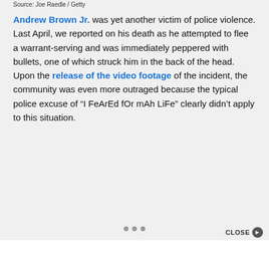Source: Joe Raedle / Getty
Andrew Brown Jr. was yet another victim of police violence. Last April, we reported on his death as he attempted to flee a warrant-serving and was immediately peppered with bullets, one of which struck him in the back of the head. Upon the release of the video footage of the incident, the community was even more outraged because the typical police excuse of “I FeArEd fOr mAh LiFe” clearly didn’t apply to this situation.